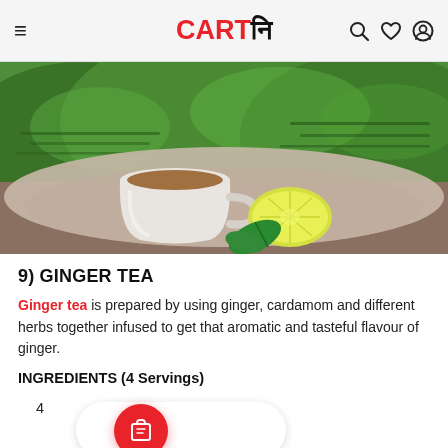CARTनि
[Figure (photo): A white ceramic tea cup with tea, a halved lemon, and green tea leaves on a gray linen cloth, with green tea plantation hills in the background.]
9) GINGER TEA
Ginger tea is prepared by using ginger, cardamom and different herbs together infused to get that aromatic and tasteful flavour of ginger.
INGREDIENTS (4 Servings)
4
1 knob of Ging...